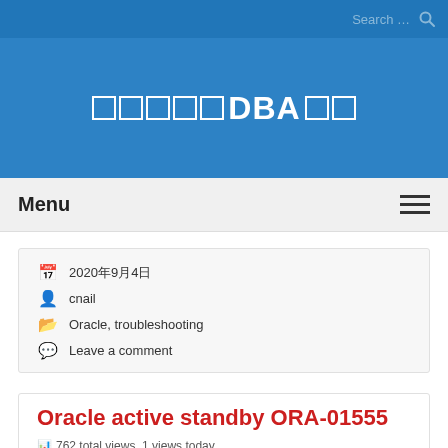Search ...
□□□□□DBA□□
Menu
2020年9月4日 | cnail | Oracle, troubleshooting | Leave a comment
Oracle active standby ORA-01555
762 total views, 1 views today